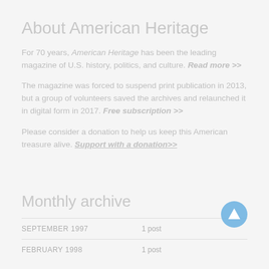About American Heritage
For 70 years, American Heritage has been the leading magazine of U.S. history, politics, and culture. Read more >>
The magazine was forced to suspend print publication in 2013, but a group of volunteers saved the archives and relaunched it in digital form in 2017. Free subscription >>
Please consider a donation to help us keep this American treasure alive. Support with a donation>>
Monthly archive
SEPTEMBER 1997   1 post
FEBRUARY 1998   1 post